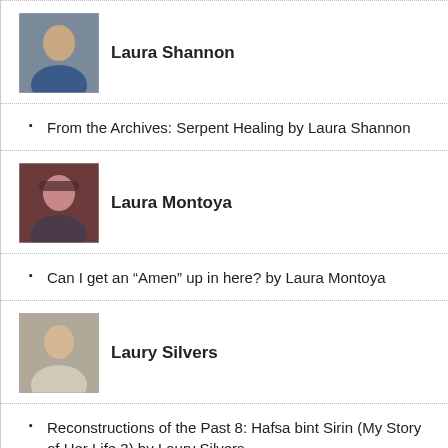[Figure (photo): Photo of Laura Shannon]
Laura Shannon
From the Archives: Serpent Healing by Laura Shannon
[Figure (photo): Photo of Laura Montoya]
Laura Montoya
Can I get an “Amen” up in here? by Laura Montoya
[Figure (photo): Photo of Laury Silvers]
Laury Silvers
Reconstructions of the Past 8: Hafsa bint Sirin (My Story of Her Life 3) by Laury Silvers
[Figure (photo): Photo of Legacy of Carol P. Christ]
Legacy of Carol P. Christ
The Legacy of Carol P. Christ: What if Divine Feminine and Divine Masculine Are Not Oppositional Categories?
[Figure (photo): Photo of Linn Marie Tonstad]
Linn Marie Tonstad